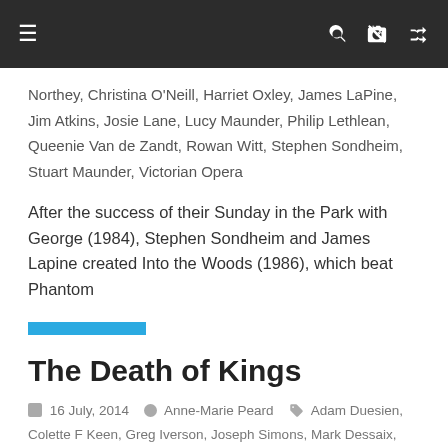Navigation bar with hamburger menu, search, and shuffle icons
Northey, Christina O'Neill, Harriet Oxley, James LaPine, Jim Atkins, Josie Lane, Lucy Maunder, Philip Lethlean, Queenie Van de Zandt, Rowan Witt, Stephen Sondheim, Stuart Maunder, Victorian Opera
After the success of their Sunday in the Park with George (1984), Stephen Sondheim and James Lapine created Into the Woods (1986), which beat Phantom
Read more
The Death of Kings
16 July, 2014   Anne-Marie Peard   Adam Duesien, Colette F Keen, Greg Iverson, Joseph Simons, Mark Dessaix, Sebastian Robinson, Tyson Wakely